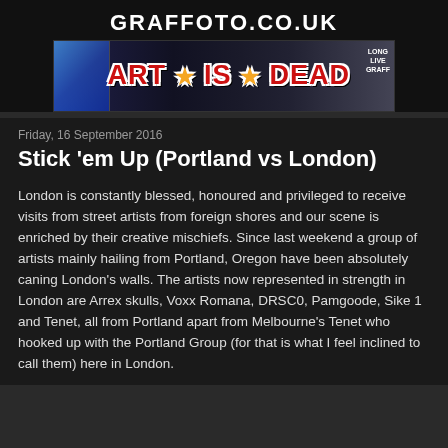GRAFFOTO.CO.UK
[Figure (illustration): Banner image with graffiti-style 'ART IS DEAD' text with stars, colorful street art style. Right side shows 'LONG LIVE GRAFF' text.]
Friday, 16 September 2016
Stick 'em Up (Portland vs London)
London is constantly blessed, honoured and privileged to receive visits from street artists from foreign shores and our scene is enriched by their creative mischiefs. Since last weekend a group of artists mainly hailing from Portland, Oregon have been absolutely caning London's walls. The artists now represented in strength in London are Arrex skulls, Voxx Romana, DRSC0, Pamgoode, Sike 1 and Tenet, all from Portland apart from Melbourne's Tenet who hooked up with the Portland Group (for that is what I feel inclined to call them) here in London.